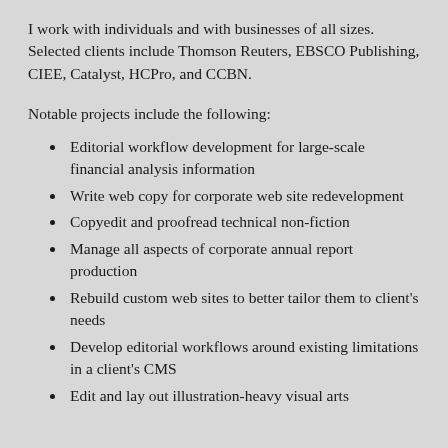I work with individuals and with businesses of all sizes. Selected clients include Thomson Reuters, EBSCO Publishing, CIEE, Catalyst, HCPro, and CCBN.
Notable projects include the following:
Editorial workflow development for large-scale financial analysis information
Write web copy for corporate web site redevelopment
Copyedit and proofread technical non-fiction
Manage all aspects of corporate annual report production
Rebuild custom web sites to better tailor them to client's needs
Develop editorial workflows around existing limitations in a client's CMS
Edit and lay out illustration-heavy visual arts